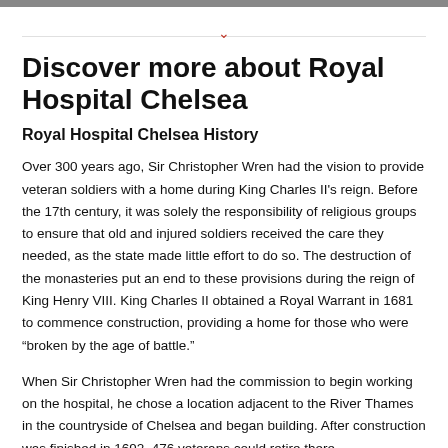Discover more about Royal Hospital Chelsea
Royal Hospital Chelsea History
Over 300 years ago, Sir Christopher Wren had the vision to provide veteran soldiers with a home during King Charles II's reign. Before the 17th century, it was solely the responsibility of religious groups to ensure that old and injured soldiers received the care they needed, as the state made little effort to do so. The destruction of the monasteries put an end to these provisions during the reign of King Henry VIII. King Charles II obtained a Royal Warrant in 1681 to commence construction, providing a home for those who were “broken by the age of battle.”
When Sir Christopher Wren had the commission to begin working on the hospital, he chose a location adjacent to the River Thames in the countryside of Chelsea and began building. After construction was finished in 1692, 476 veterans could retire there